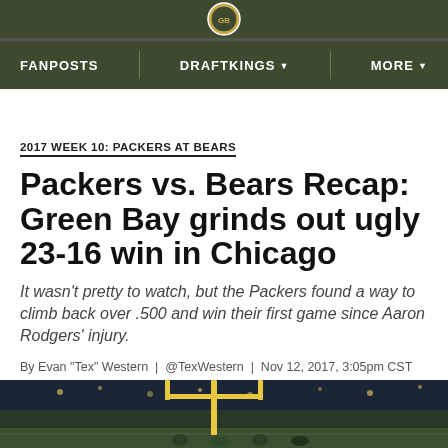FANPOSTS | DRAFTKINGS | MORE
2017 WEEK 10: PACKERS AT BEARS
Packers vs. Bears Recap: Green Bay grinds out ugly 23-16 win in Chicago
It wasn't pretty to watch, but the Packers found a way to climb back over .500 and win their first game since Aaron Rodgers' injury.
By Evan "Tex" Western | @TexWestern | Nov 12, 2017, 3:05pm CST
[Figure (photo): Bottom portion showing football field with goalpost and crowd in background]